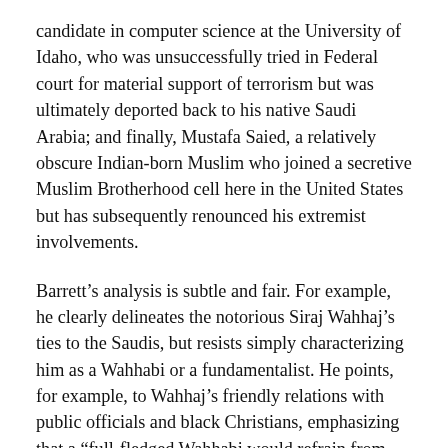candidate in computer science at the University of Idaho, who was unsuccessfully tried in Federal court for material support of terrorism but was ultimately deported back to his native Saudi Arabia; and finally, Mustafa Saied, a relatively obscure Indian-born Muslim who joined a secretive Muslim Brotherhood cell here in the United States but has subsequently renounced his extremist involvements.
Barrett's analysis is subtle and fair. For example, he clearly delineates the notorious Siraj Wahhaj's ties to the Saudis, but resists simply characterizing him as a Wahhabi or a fundamentalist. He points, for example, to Wahhaj's friendly relations with public officials and black Christians, emphasizing that a “full-fledged Wahhabi would refrain from such ties.” As Barrett observes of Wahhaj, “Some of his sermons, opinions, and past personal affiliations betray an affinity for fundamentalism. But the roots of his anger at American society trace more directly to the condition of American blacks than to grievances grounded in the Middle East.”
Similarly, Barrett traces how Wahhaj’s disturbing ties to